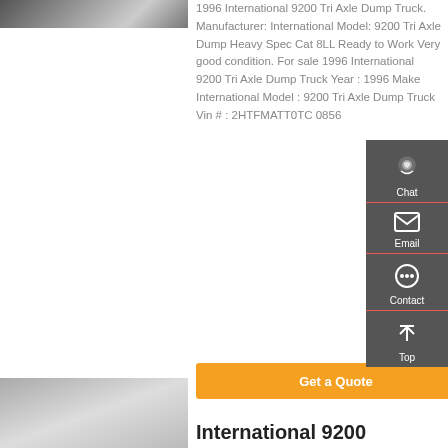[Figure (photo): Partial view of a dump truck, top left]
1996 International 9200 Tri Axle Dump Truck. Manufacturer: International Model: 9200 Tri Axle Dump Heavy Spec Cat 8LL Ready to Work Very good condition. For sale 1996 International 9200 Tri Axle Dump Truck Year : 1996 Make International Model : 9200 Tri Axle Dump Truck Vin # : 2HTFMATT0TC 0856
[Figure (other): Sidebar with Chat, Email, Contact, Top navigation icons]
Get a Quote
[Figure (photo): Thumbnail image of a truck at bottom left]
International 9200